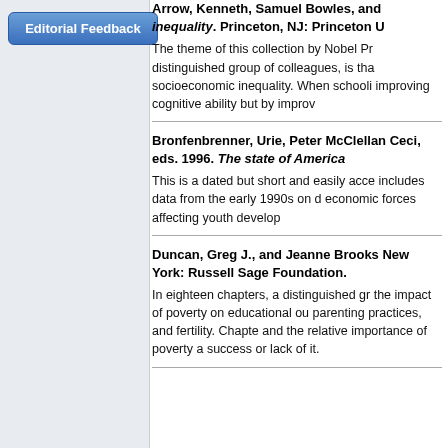[Figure (other): Blue 'Editorial Feedback' button on light gray panel]
Arrow, Kenneth, Samuel Bowles, and... inequality. Princeton, NJ: Princeton U...
The theme of this collection by Nobel Pr... distinguished group of colleagues, is tha... socioeconomic inequality. When schooli... improving cognitive ability but by improv...
Bronfenbrenner, Urie, Peter McClellan... Ceci, eds. 1996. The state of America...
This is a dated but short and easily acce... includes data from the early 1990s on d... economic forces affecting youth develop...
Duncan, Greg J., and Jeanne Brooks... New York: Russell Sage Foundation.
In eighteen chapters, a distinguished gr... the impact of poverty on educational ou... parenting practices, and fertility. Chapte... and the relative importance of poverty a... success or lack of it.